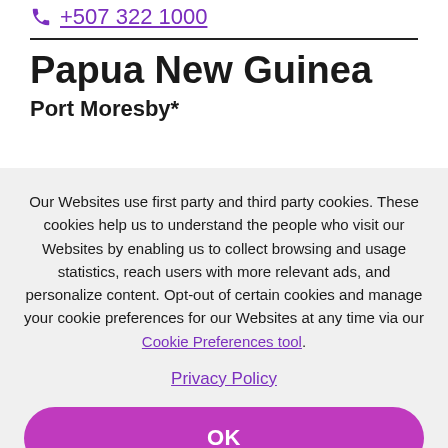+507 322 1000
Papua New Guinea
Port Moresby*
Our Websites use first party and third party cookies. These cookies help us to understand the people who visit our Websites by enabling us to collect browsing and usage statistics, reach users with more relevant ads, and personalize content. Opt-out of certain cookies and manage your cookie preferences for our Websites at any time via our Cookie Preferences tool.
Privacy Policy
OK